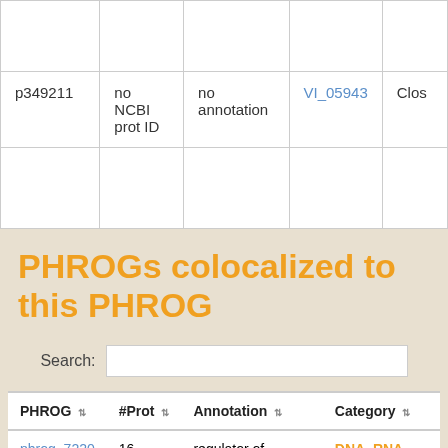|  |  |  |  |  |
| --- | --- | --- | --- | --- |
|  |  |  |  |  |
| p349211 | no NCBI prot ID | no annotation | VI_05943 | Clos |
PHROGs colocalized to this PHROG
Search:
| PHROG | #Prot | Annotation | Category |
| --- | --- | --- | --- |
| phrog_7220 | 16 | regulator of chromosome condensation | DNA, RNA and nucleotide |